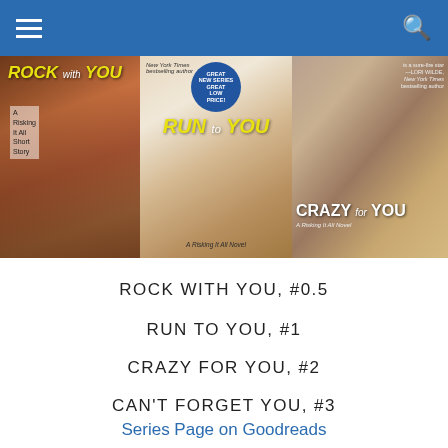[Figure (illustration): Three book covers side by side: Rock with You, Run to You, and Crazy for You — part of the Risking It All series]
ROCK WITH YOU, #0.5
RUN TO YOU, #1
CRAZY FOR YOU, #2
CAN'T FORGET YOU, #3
Series Page on Goodreads